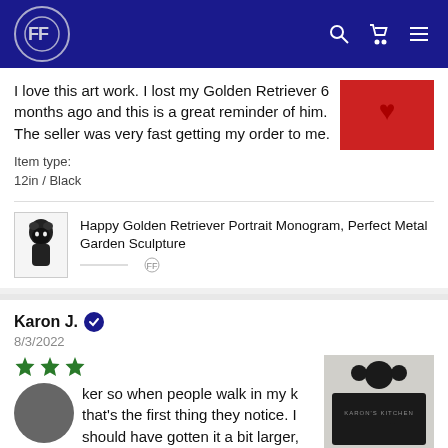[Figure (logo): AF logo in circle on dark blue navigation header with search, cart and menu icons]
I love this art work. I lost my Golden Retriever 6 months ago and this is a great reminder of him. The seller was very fast getting my order to me.
Item type:
12in / Black
[Figure (photo): Red t-shirt product photo]
Happy Golden Retriever Portrait Monogram, Perfect Metal Garden Sculpture
Karon J. ✓
8/3/2022
[Figure (other): Three green stars rating]
ker so when people walk in my k that's the first thing they notice. I should have gotten it a bit larger, either way I love it!
[Figure (photo): Black metal kitchen sign reading KARON'S KITCHEN with decorative elements]